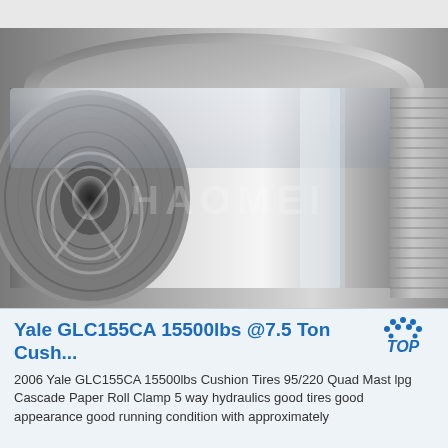[Figure (photo): Close-up photograph of large aluminum coil rolls stacked together, with a HAOMEI watermark visible across the center of the image. The rolls show shiny metallic surfaces with circular cross-sections.]
Yale GLC155CA 15500lbs @7.5 Ton Cush...
2006 Yale GLC155CA 15500lbs Cushion Tires 95/220 Quad Mast lpg Cascade Paper Roll Clamp 5 way hydraulics good tires good appearance good running condition with approximately